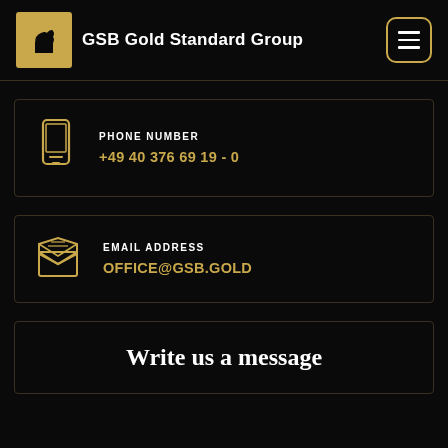GSB Gold Standard Group
PHONE NUMBER
+49 40 376 69 19 - 0
EMAIL ADDRESS
OFFICE@GSB.GOLD
Write us a message